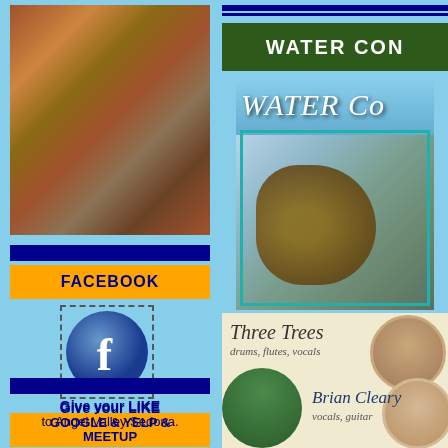[Figure (photo): Rushing muddy brown water / river rapids photo]
[Figure (logo): Facebook logo button (blue circle with white 'f')]
FACEBOOK
Give your LIKE
to Angel Valley Sedona.
GOOGLE & YELP &
MEETUP
[Figure (photo): Water Concert album cover with guitar player in rushing water, italic cursive text 'Water Co']
WATER CON
[Figure (photo): Three Trees band - drums, flutes, vocals; portrait photos of band members]
Three Trees
drums, flutes, vocals
Brian Cleary
vocals, guitar